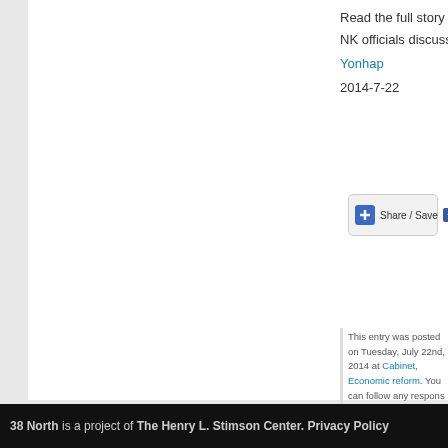Read the full story here:
NK officials discuss economic policy in key Cabinet m
Yonhap
2014-7-22
[Figure (other): Share / Save social sharing button with Facebook, Twitter and other icons]
This entry was posted on Tuesday, July 22nd, 2014 at Cabinet, Economic reform. You can follow any respons RSS 2.0 feed. Both comments and pings are currently clo
Comments are closed.
North Korean Economy Watch is proudly power
Entries (RSS) and Comments (RS
38 North is a project of The Henry L. Stimson Center. Privacy Policy